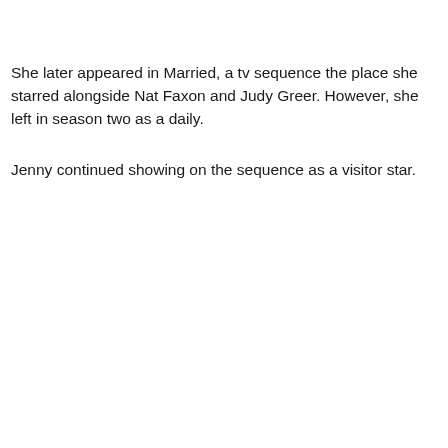She later appeared in Married, a tv sequence the place she starred alongside Nat Faxon and Judy Greer. However, she left in season two as a daily.
Jenny continued showing on the sequence as a visitor star.